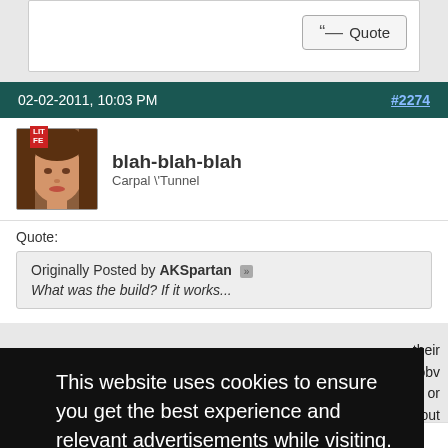Quote
02-02-2011, 10:03 PM  #2274
blah-blah-blah
Carpal \Tunnel
Quote:
Originally Posted by AKSpartan
What was the build? If it works...
This website uses cookies to ensure you get the best experience and relevant advertisements while visiting. Learn more
Got it!
based on very little information and if we guess wrong we're